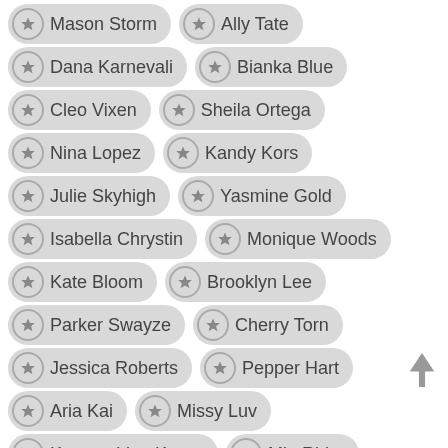Mason Storm
Ally Tate
Dana Karnevali
Bianka Blue
Cleo Vixen
Sheila Ortega
Nina Lopez
Kandy Kors
Julie Skyhigh
Yasmine Gold
Isabella Chrystin
Monique Woods
Kate Bloom
Brooklyn Lee
Parker Swayze
Cherry Torn
Jessica Roberts
Pepper Hart
Aria Kai
Missy Luv
Kagney Linn Karter
Mia Rider
Jennica Lynn
Tigerr Benson